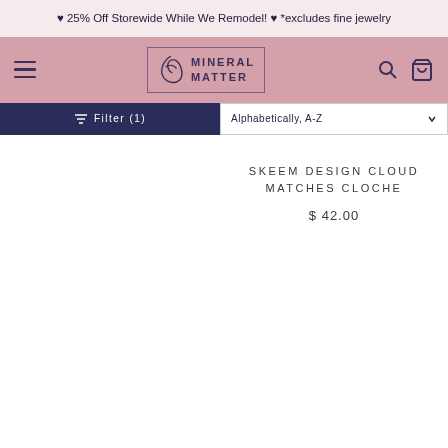♥ 25% Off Storewide While We Remodel! ♥ *excludes fine jewelry
[Figure (logo): Mineral Matter logo with hamburger menu, search, and cart icons in a pink navigation bar]
Filter (1)
Alphabetically, A-Z
SKEEM DESIGN CLOUD MATCHES CLOCHE
$ 42.00